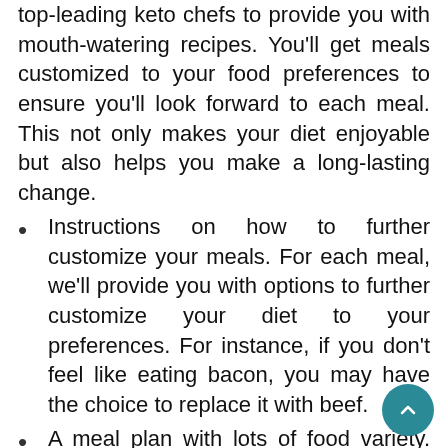top-leading keto chefs to provide you with mouth-watering recipes. You'll get meals customized to your food preferences to ensure you'll look forward to each meal. This not only makes your diet enjoyable but also helps you make a long-lasting change.
Instructions on how to further customize your meals. For each meal, we'll provide you with options to further customize your diet to your preferences. For instance, if you don't feel like eating bacon, you may have the choice to replace it with beef.
A meal plan with lots of food variety. Your meal plan will contain a wide range of different foods.